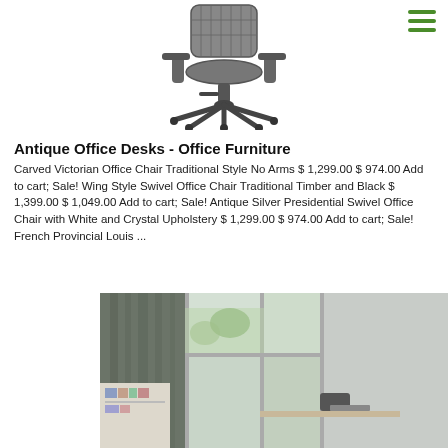[Figure (photo): Gray ergonomic office chair viewed from the front, no arms, on a star base with casters]
Antique Office Desks - Office Furniture
Carved Victorian Office Chair Traditional Style No Arms $ 1,299.00 $ 974.00 Add to cart; Sale! Wing Style Swivel Office Chair Traditional Timber and Black $ 1,399.00 $ 1,049.00 Add to cart; Sale! Antique Silver Presidential Swivel Office Chair with White and Crystal Upholstery $ 1,299.00 $ 974.00 Add to cart; Sale! French Provincial Louis ...
[Figure (screenshot): Contact us button with download icon]
[Figure (photo): Modern office interior with large windows, curtains, desk, bookshelves and a chair]